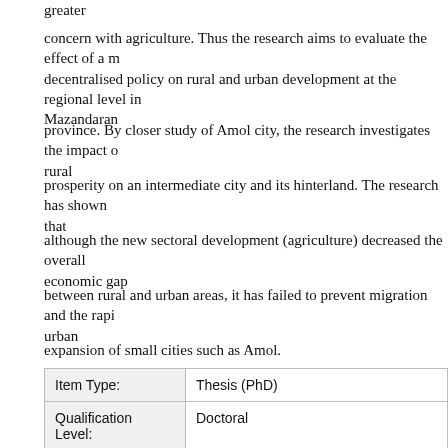greater
concern with agriculture. Thus the research aims to evaluate the effect of a more decentralised policy on rural and urban development at the regional level in Mazandaran
province. By closer study of Amol city, the research investigates the impact of rural
prosperity on an intermediate city and its hinterland. The research has shown that
although the new sectoral development (agriculture) decreased the overall economic gap
between rural and urban areas, it has failed to prevent migration and the rapid urban
expansion of small cities such as Amol.
|  |  |
| --- | --- |
| Item Type: | Thesis (PhD) |
| Qualification Level: | Doctoral |
| Subjects: | H Social Sciences > HM Sociology |
| Colleges/Schools: | College of Science and Engineering > School of |